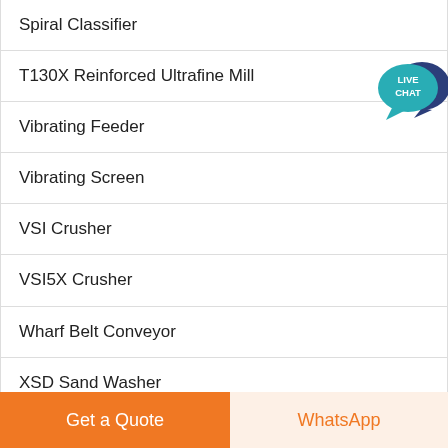Spiral Classifier
T130X Reinforced Ultrafine Mill
Vibrating Feeder
Vibrating Screen
VSI Crusher
VSI5X Crusher
Wharf Belt Conveyor
XSD Sand Washer
[Figure (illustration): Live Chat speech bubble icon with teal and dark blue colors, text LIVE CHAT]
Get a Quote | WhatsApp